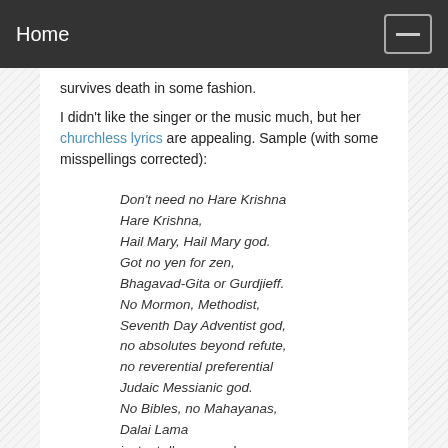Home
survives death in some fashion.
I didn't like the singer or the music much, but her churchless lyrics are appealing. Sample (with some misspellings corrected):
Don't need no Hare Krishna
Hare Krishna,
Hail Mary, Hail Mary god.
Got no yen for zen,
Bhagavad-Gita or Gurdjieff.
No Mormon, Methodist,
Seventh Day Adventist god,
no absolutes beyond refute,
no reverential preferential
Judaic Messianic god.
No Bibles, no Mahayanas,
Dalai Lama
instant dharma gods.